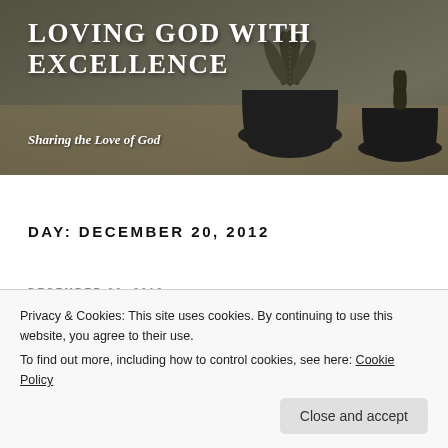[Figure (photo): Blog header image showing potted plants (succulent/cacti in dark round pots) on a wooden surface, with overlaid blog title and subtitle text]
LOVING GOD WITH EXCELLENCE
Sharing the Love of God
DAY: DECEMBER 20, 2012
DECEMBER 20, 2012
Why Not Pray
Why Not Pray?
Privacy & Cookies: This site uses cookies. By continuing to use this website, you agree to their use.
To find out more, including how to control cookies, see here: Cookie Policy
Close and accept